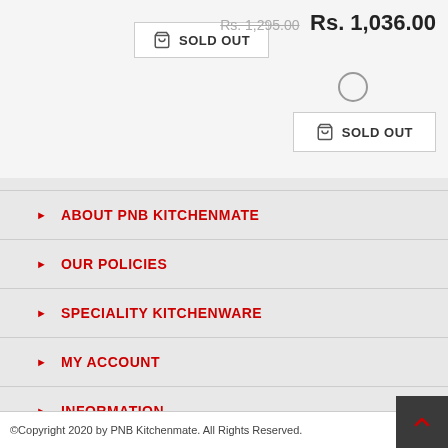Rs. 1,295.00  Rs. 1,036.00
SOLD OUT
SOLD OUT
ABOUT PNB KITCHENMATE
OUR POLICIES
SPECIALITY KITCHENWARE
MY ACCOUNT
INFORMATION
©Copyright 2020 by PNB Kitchenmate. All Rights Reserved.